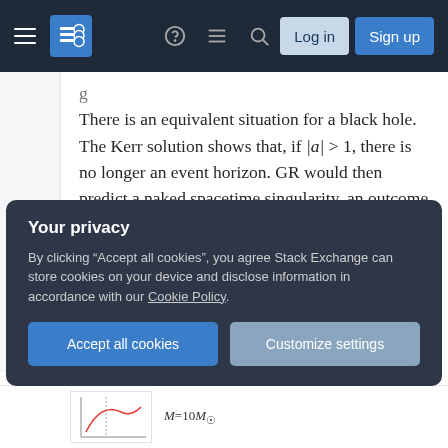Stack Exchange navigation bar with Log in and Sign up buttons
There is an equivalent situation for a black hole. The Kerr solution shows that, if |a| > 1, there is no longer an event horizon. GR would then predict a naked spacetime singularity, an outcome that is abhorrant to physical law and the notion of predictability and thus forbidden by the Cosmic Censorship Hypothesis. Of course, it is of great interest to physicists to test whether nature respects this Kerr
Your privacy
By clicking "Accept all cookies", you agree Stack Exchange can store cookies on your device and disclose information in accordance with our Cookie Policy.
Accept all cookies  Customize settings
[Figure (other): Bottom partial figure showing M=10M_sun label and partial graph axes]